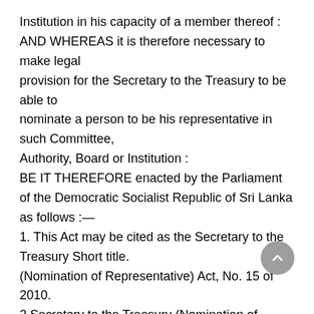Institution in his capacity of a member thereof : AND WHEREAS it is therefore necessary to make legal provision for the Secretary to the Treasury to be able to nominate a person to be his representative in such Committee, Authority, Board or Institution : BE IT THEREFORE enacted by the Parliament of the Democratic Socialist Republic of Sri Lanka as follows :— 1. This Act may be cited as the Secretary to the Treasury Short title. (Nomination of Representative) Act, No. 15 of 2010. 2 Secretary to the Treasury (Nomination of Representative) Act No. 15 of 2010 Secretary to the 2. Where any law for the time being